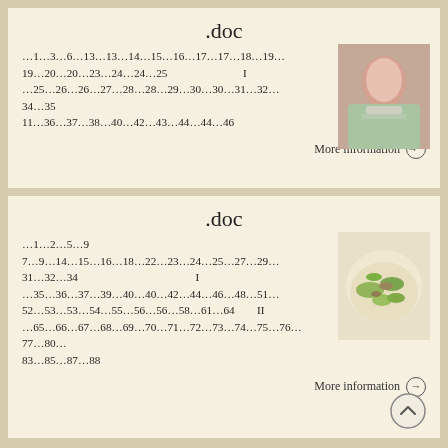.doc
…1…3…6…13…13…14…15…16…17…17…18…19… 19…20…20…23…24…24…25                          I …25…26…26…27…28…28…29…30…30…31…32… 34…35 11…36…37…38…40…42…43…44…44…46
[Figure (photo): Woman holding a blister pack of pills]
More information →
.doc
…1…2…5…9 7…9…14…15…16…18…22…23…24…25…27…29… 31…32…34                                                  I …35…36…37…39…40…40…42…44…46…48…51… 52…53…53…54…55…56…56…58…61…64          II …65…66…67…68…69…70…71…72…73…74…75…76…77…80… 83…85…87…88
[Figure (photo): Bowl of salad with green beans and mushrooms]
More information →